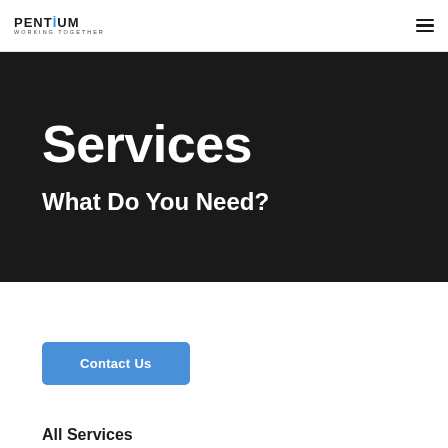PENTIUM WORKING TOGETHER
Services
What Do You Need?
Contact Us
All Services